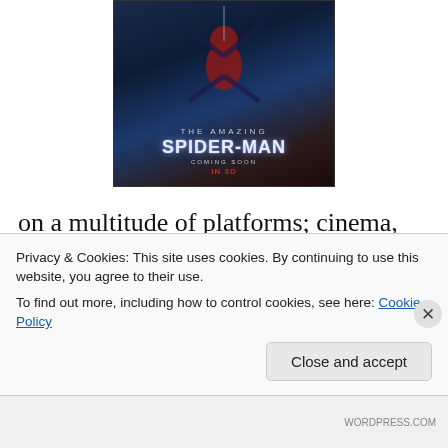[Figure (photo): Movie poster for 'The Amazing Spider-Man' showing Spider-Man in action with text 'THE AMAZING SPIDER-MAN COMING SOON IN 3D']
on a multitude of platforms; cinema, toys, graphic novels, traditional comic books, cartoons, clothes.  Your brand or blog might not have so many outlets, but it is here where you have to get creative.  Where exactly are your customers or
Privacy & Cookies: This site uses cookies. By continuing to use this website, you agree to their use.
To find out more, including how to control cookies, see here: Cookie Policy